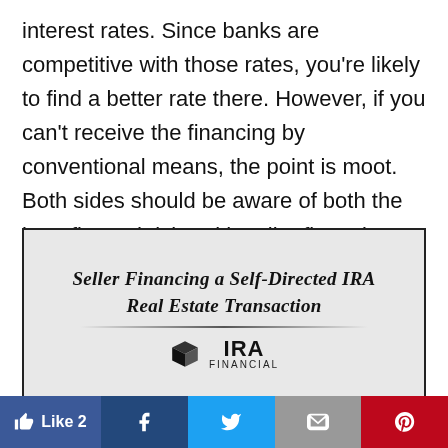interest rates. Since banks are competitive with those rates, you're likely to find a better rate there. However, if you can't receive the financing by conventional means, the point is moot. Both sides should be aware of both the benefits and risks with seller financing.
[Figure (illustration): A framed document cover page with handwritten-style italic bold title 'Seller Financing a Self-Directed IRA Real Estate Transaction' with a decorative underline, and the IRA Financial logo (cube icon + IRA FINANCIAL text) below.]
Like 2 | Facebook | Twitter | Gmail | Pinterest